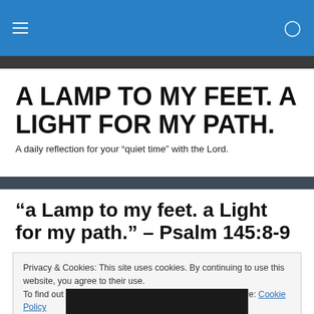A LAMP TO MY FEET. A LIGHT FOR MY PATH.
A LAMP TO MY FEET. A LIGHT FOR MY PATH.
A daily reflection for your "quiet time" with the Lord.
“a Lamp to my feet. a Light for my path.” – Psalm 145:8-9
Privacy & Cookies: This site uses cookies. By continuing to use this website, you agree to their use.
To find out more, including how to control cookies, see here: Cookie Policy
Close and accept